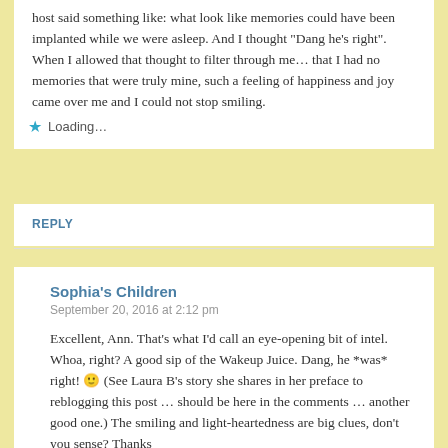host said something like: what look like memories could have been implanted while we were asleep. And I thought "Dang he's right". When I allowed that thought to filter through me… that I had no memories that were truly mine, such a feeling of happiness and joy came over me and I could not stop smiling.
⭐ Loading…
REPLY
Sophia's Children
September 20, 2016 at 2:12 pm
Excellent, Ann. That's what I'd call an eye-opening bit of intel. Whoa, right? A good sip of the Wakeup Juice. Dang, he *was* right! 🙂 (See Laura B's story she shares in her preface to reblogging this post … should be here in the comments … another good one.) The smiling and light-heartedness are big clues, don't you sense? Thanks